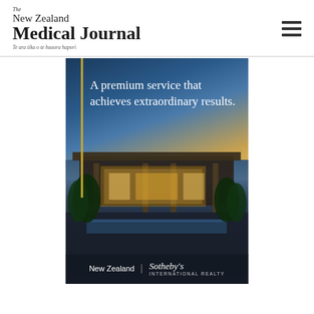The New Zealand Medical Journal — Te ara tika o te hauora hapori
[Figure (photo): Advertisement for New Zealand Sotheby's International Realty showing a luxury property at dusk with overlay text 'A premium service that achieves extraordinary results.' and the Sotheby's International Realty logo at the bottom.]